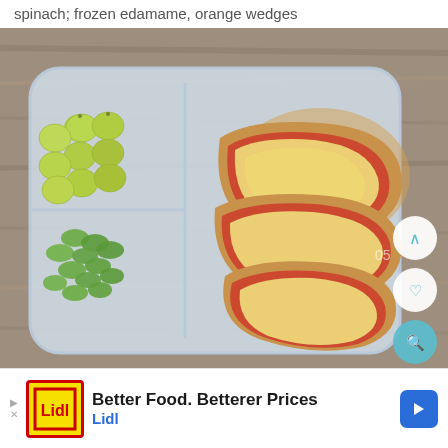spinach; frozen edamame, orange wedges
[Figure (photo): A plastic divided lunchbox container on a wooden surface, containing green grapes in one compartment, edamame in another, and pizza rolls/mini pizzas with melted cheese and tomato sauce in the large compartment. Three circular UI buttons (up arrow, heart, magnifying glass) are visible on the right side.]
Better Food. Betterer Prices Lidl